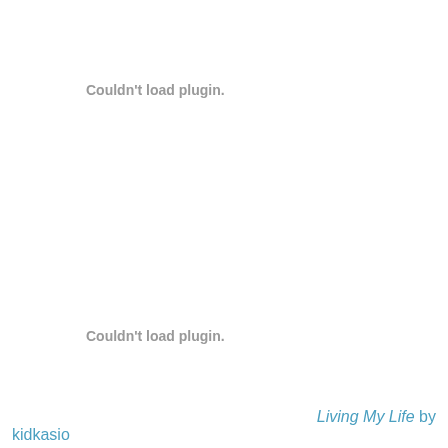Couldn't load plugin.
Couldn't load plugin.
Living My Life by
kidkasio